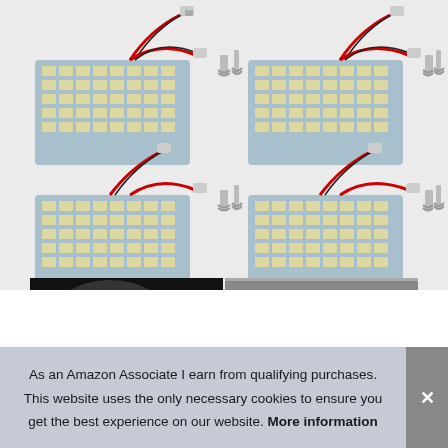[Figure (photo): Product photo showing four LED panel light boards with wiring connectors and adapters, each panel has a 5x8 grid of SMD LEDs on a blue PCB with red/black wire harness and multiple connector types. Below are two real-world installation photos: left shows a glowing white LED panel against dark background, right shows a car interior dome light installed on ceiling.]
As an Amazon Associate I earn from qualifying purchases. This website uses the only necessary cookies to ensure you get the best experience on our website. More information